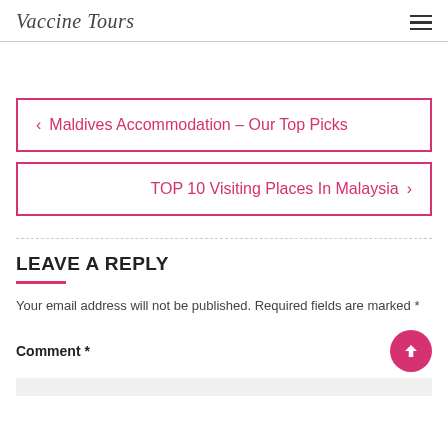Vaccine Tours
‹ Maldives Accommodation – Our Top Picks
TOP 10 Visiting Places In Malaysia ›
LEAVE A REPLY
Your email address will not be published. Required fields are marked *
Comment *